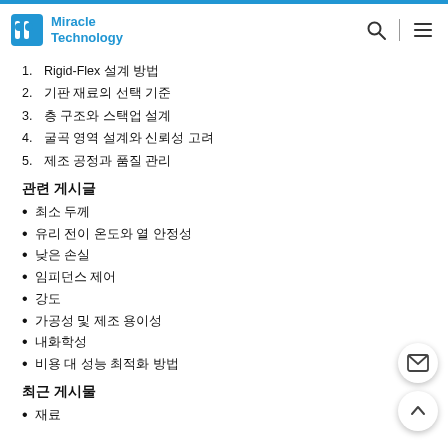Miracle Technology
1. Rigid-Flex 설계 방법
2. 기판 재료의 선택 기준
3. 층 구조와 스택업 설계
4. 굴곡 영역 설계와 신뢰성 고려
5. 제조 공정과 품질 관리
관련 게시글
최소 두께
유리 전이 온도와 열 안정성
낮은 손실
임피던스 제어
강도
가공성 및 제조 용이성
내화학성
비용 대 성능 최적화 방법
최근 게시물
재료